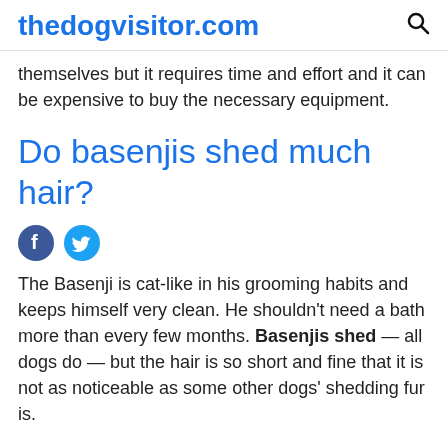thedogvisitor.com
themselves but it requires time and effort and it can be expensive to buy the necessary equipment.
Do basenjis shed much hair?
[Figure (other): Facebook and Twitter social share icons]
The Basenji is cat-like in his grooming habits and keeps himself very clean. He shouldn't need a bath more than every few months. Basenjis shed — all dogs do — but the hair is so short and fine that it is not as noticeable as some other dogs' shedding fur is.